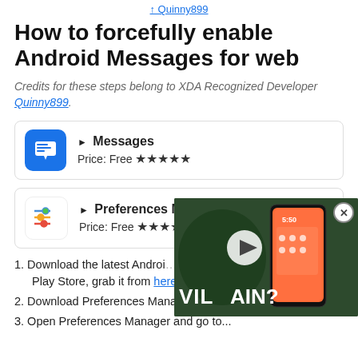Quinny899
How to forcefully enable Android Messages for web
Credits for these steps belong to XDA Recognized Developer Quinny899.
[Figure (screenshot): Messages app card: blue icon with chat bubble, name 'Messages', Price: Free, 5 stars]
[Figure (screenshot): Preferences Manager app card: colorful sliders icon, name 'Preferences Manager', Price: Free, 5 stars]
[Figure (screenshot): Video overlay showing a phone screen with play button and text 'VILLAIN?' with close button]
1. Download the latest Android Messages app (version 3.3.043.) If you aren't on the Play Store, grab it from here.
2. Download Preferences Manager from the Google Play Store.
3. Open Preferences Manager and go to...